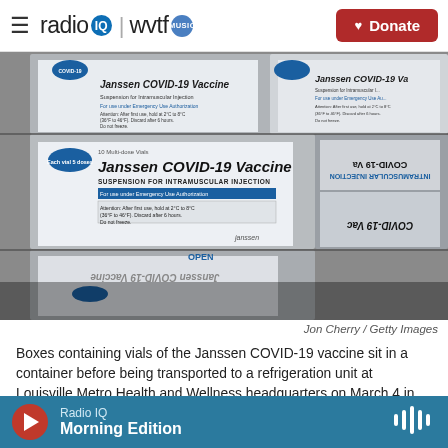radio IQ | wvtf MUSIC  Donate
[Figure (photo): Boxes of Janssen COVID-19 Vaccine stacked in a container, showing front labels with 'Suspension for Intramuscular Injection', Emergency Use Authorization text, and storage instructions.]
Jon Cherry / Getty Images
Boxes containing vials of the Janssen COVID-19 vaccine sit in a container before being transported to a refrigeration unit at Louisville Metro Health and Wellness headquarters on March 4 in Louisville, Ky. The FDA
Radio IQ  Morning Edition